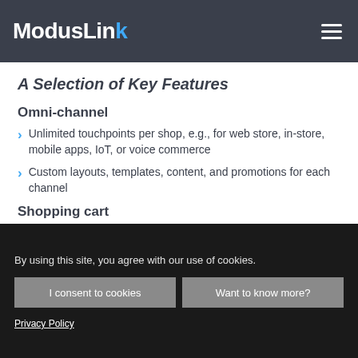ModusLink
A Selection of Key Features
Omni-channel
Unlimited touchpoints per shop, e.g., for web store, in-store, mobile apps, IoT, or voice commerce
Custom layouts, templates, content, and promotions for each channel
Shopping cart
International currencies, prices, taxes, delivery dates, and shipping charges
By using this site, you agree with our use of cookies.
I consent to cookies
Want to know more?
Privacy Policy